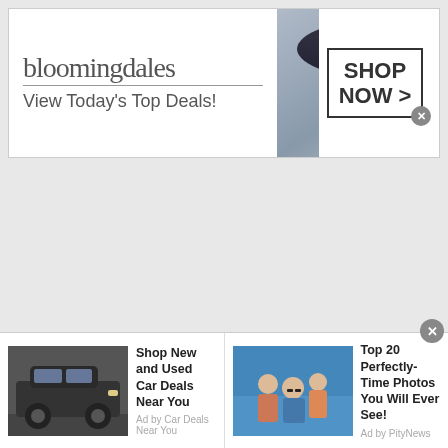[Figure (screenshot): Bloomingdales banner advertisement showing logo, 'View Today's Top Deals!' tagline, a woman wearing a large dark hat, and a 'SHOP NOW >' button in a bordered box]
[Figure (screenshot): Bottom ad strip with two advertisement units: left shows a dark SUV car with text 'Shop New and Used Car Deals Near You' (Ad by Car Deals Near You); right shows people in water with text 'Top 20 Perfectly-Time Photos You Will Ever See!' (Ad by PityNews)]